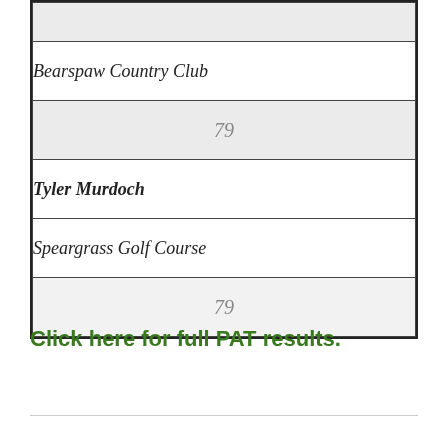|  |
| Bearspaw Country Club |
| 79 |
| Tyler Murdoch |
| Speargrass Golf Course |
| 79 |
Click here for full PAT results.